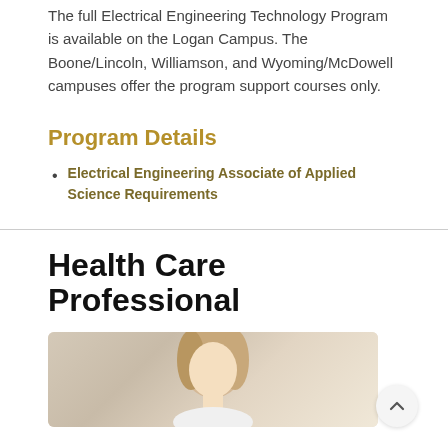The full Electrical Engineering Technology Program is available on the Logan Campus. The Boone/Lincoln, Williamson, and Wyoming/McDowell campuses offer the program support courses only.
Program Details
Electrical Engineering Associate of Applied Science Requirements
Health Care Professional
[Figure (photo): Photo of a blonde woman, partially visible, cropped — associated with Health Care Professional section]